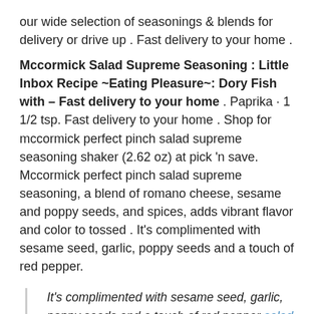our wide selection of seasonings & blends for delivery or drive up . Fast delivery to your home .
Mccormick Salad Supreme Seasoning : Little Inbox Recipe ~Eating Pleasure~: Dory Fish with – Fast delivery to your home . Paprika · 1 1/2 tsp. Fast delivery to your home . Shop for mccormick perfect pinch salad supreme seasoning shaker (2.62 oz) at pick 'n save. Mccormick perfect pinch salad supreme seasoning, a blend of romano cheese, sesame and poppy seeds, and spices, adds vibrant flavor and color to tossed . It's complimented with sesame seed, garlic, poppy seeds and a touch of red pepper.
It's complimented with sesame seed, garlic, poppy seeds and a touch of red pepper salad supreme seasoning. Mccormick perfect pinch salad supreme seasoning, a blend of romano cheese, sesame and